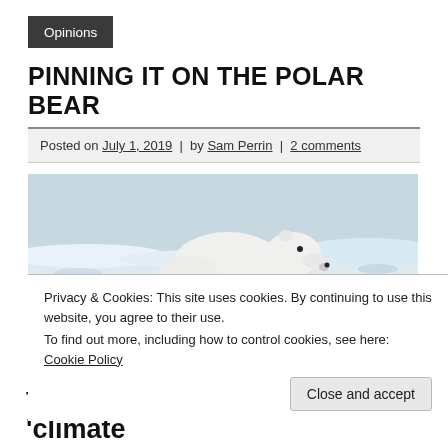Opinions
PINNING IT ON THE POLAR BEAR
Posted on July 1, 2019 | by Sam Perrin | 2 comments
[Figure (photo): A polar bear leaning down toward a crack in the ice/water on a snowy Arctic landscape, viewed from the side.]
Privacy & Cookies: This site uses cookies. By continuing to use this website, you agree to their use.
To find out more, including how to control cookies, see here: Cookie Policy
the media when the words 'climate